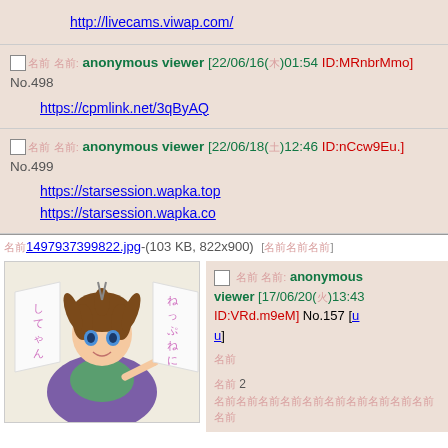http://livecams.viwap.com/
□ 名前: anonymous viewer [22/06/16(木)01:54 ID:MRnbrMmo] No.498
https://cpmlink.net/3qByAQ
□ 名前: anonymous viewer [22/06/18(土)12:46 ID:nCcw9Eu.] No.499
https://starsession.wapka.top
https://starsession.wapka.co
名前 1497937399822.jpg-(103 KB, 822x900) [iqdb]
[Figure (illustration): Anime-style illustration of a brown-haired girl with blue eyes wearing a purple cape and green outfit, pointing forward, with Japanese text on banners]
□ 名前: anonymous viewer [17/06/20(火)13:43 ID:VRd.m9eM] No.157 [u u]
名前
名前 2 名前名前名前名前名前名前名前名前名前名前名前